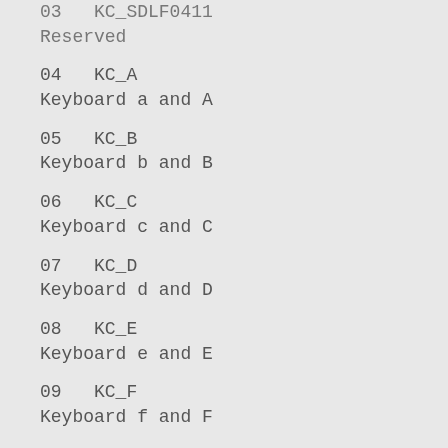03  KC_SDLF0411
Reserved
04  KC_A
Keyboard a and A
05  KC_B
Keyboard b and B
06  KC_C
Keyboard c and C
07  KC_D
Keyboard d and D
08  KC_E
Keyboard e and E
09  KC_F
Keyboard f and F
0A  KC_G
Keyboard g and G